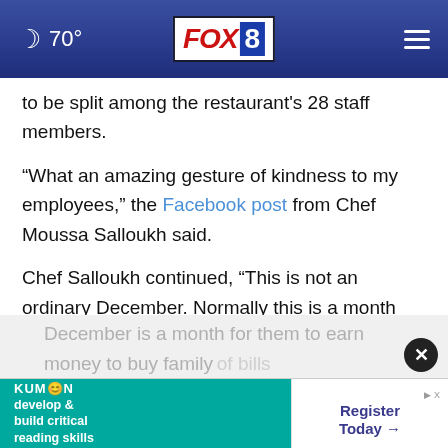70° FOX 8
to be split among the restaurant's 28 staff members.
“What an amazing gesture of kindness to my employees,” the Facebook post from Chef Moussa Salloukh said.
Chef Salloukh continued, “This is not an ordinary December. Normally this is a month when our employees work extra and guests tip generously.
December is a month for them to earn money to buy family … of bills